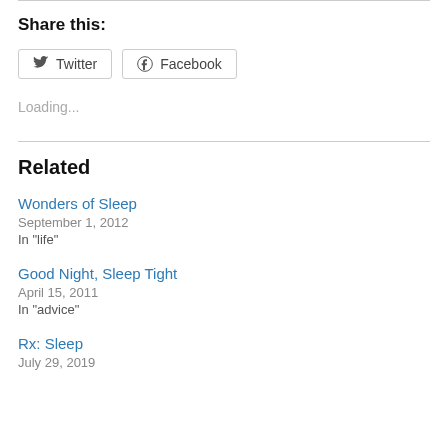Share this:
Twitter  Facebook
Loading...
Related
Wonders of Sleep
September 1, 2012
In "life"
Good Night, Sleep Tight
April 15, 2011
In "advice"
Rx: Sleep
July 29, 2019